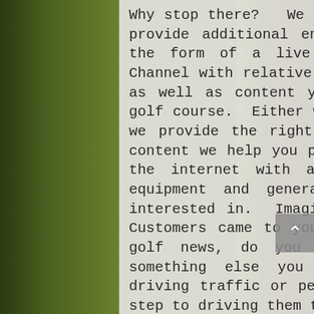Why stop there?  We think you shouldn't!!  So we also provide additional entertainment for your customer in the form of a live feed from your branded YouTube Channel with relative content for your customer to view as well as content you have created directly for the golf course.  Either way, people love to view videos so we provide the right opportunity.  The last piece of content we help you provided is a direct RSS Feed from the internet with a variety of golf news, videos, equipment and general information most golfers are interested in.  Imagine if your members and Guests or Customers came to your website every day to get their golf news, do you not think they might also see something else you might be promoting?  Remember driving traffic or people to your website is the first step to driving them to your front door!!